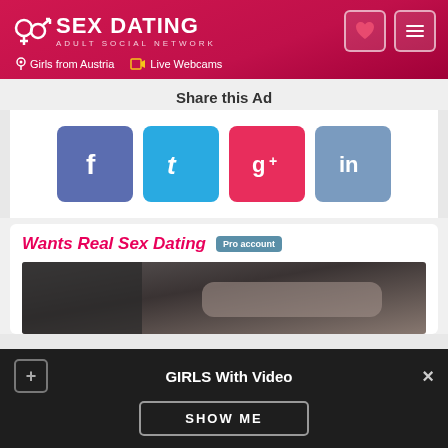SEX DATING ADULT SOCIAL NETWORK | Girls from Austria | Live Webcams
Share this Ad
[Figure (infographic): Social share buttons: Facebook, Twitter, Google+, LinkedIn]
Wants Real Sex Dating Pro account
[Figure (photo): Partial bedroom/pillow photo for dating profile]
GIRLS With Video
SHOW ME